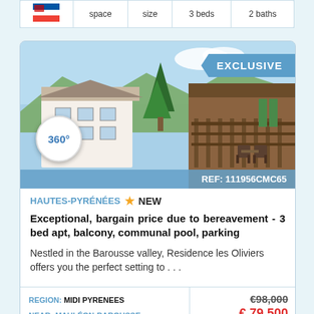|  | space | size | 3 beds | 2 baths |
| --- | --- | --- | --- | --- |
| [flag] |  |  |  |  |
[Figure (photo): Exterior photo of a chalet-style apartment building with balcony, wood railing, mountain backdrop with trees, labelled EXCLUSIVE and 360 degree view badge, REF: 111956CMC65]
HAUTES-PYRÉNÉES ☀ NEW
Exceptional, bargain price due to bereavement - 3 bed apt, balcony, communal pool, parking
Nestled in the Barousse valley, Residence les Oliviers offers you the perfect setting to . . .
| Region/Near | Price |
| --- | --- |
| REGION: MIDI PYRENEES | €98,000 |
| NEAR: MAULÉON-BAROUSSE | € 79,500 |